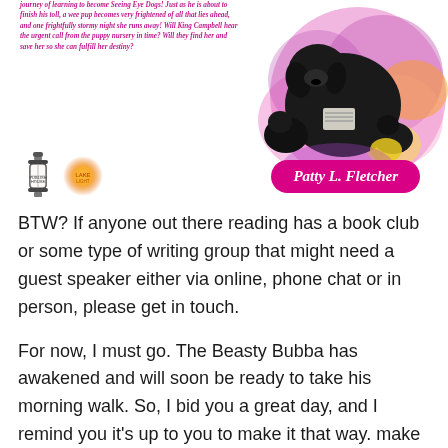journey of learning to become Seeing Eye Dogs! Just as he is about to finish his toll, a wee pup becomes very frightened of all that lies ahead, and one frightfully stormy night she runs away! Will King Campbell hear the urgent call from the puppy nursery in time? Will they find her and save her so she can fulfill her destiny?
[Figure (illustration): Colorful illustrated book cover showing black Labrador dogs with puppies, splashes of pink, purple, orange and yellow watercolor, book cover art for a children's story about guide dogs]
[Figure (logo): Publisher lantern logo and a glowing orange sun/light logo side by side]
Patty L. Fletcher
BTW? If anyone out there reading has a book club or some type of writing group that might need a guest speaker either via online, phone chat or in person, please get in touch.
For now, I must go. The Beasty Bubba has awakened and will soon be ready to take his morning walk. So, I bid you a great day, and I remind you it's up to you to make it that way. make it a Great One!